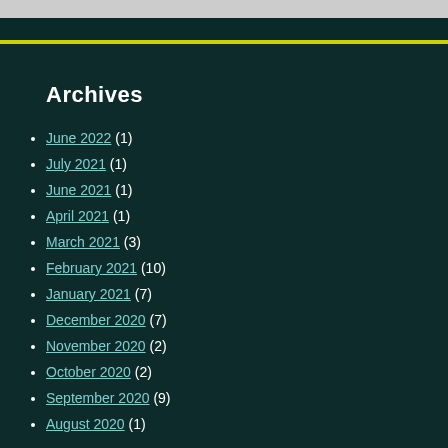Archives
June 2022 (1)
July 2021 (1)
June 2021 (1)
April 2021 (1)
March 2021 (3)
February 2021 (10)
January 2021 (7)
December 2020 (7)
November 2020 (2)
October 2020 (2)
September 2020 (9)
August 2020 (1)